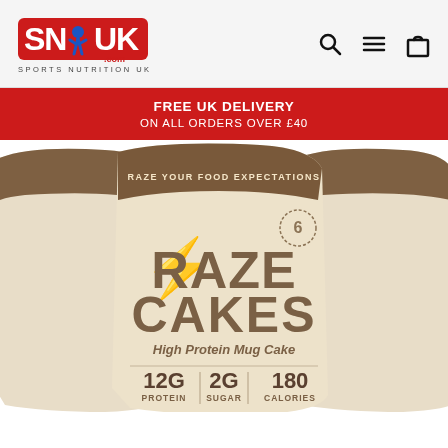[Figure (logo): SNUK Sports Nutrition UK logo with running figure in red and blue]
[Figure (other): Search, hamburger menu, and shopping bag icons in header]
FREE UK DELIVERY
ON ALL ORDERS OVER £40
[Figure (photo): Raze Cakes High Protein Mug Cake product bag - cream/beige colored bag showing 12G Protein, 2G Sugar, 180 Calories. Cinnamon Roll flavor. Text: RAZE YOUR FOOD EXPECTATIONS]